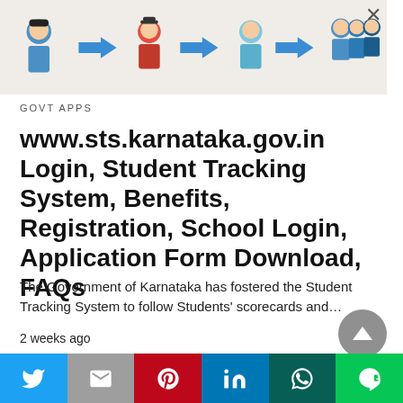[Figure (illustration): Advertisement banner showing illustrated student tracking journey with cartoon figures and blue arrows]
GOVT APPS
www.sts.karnataka.gov.in Login, Student Tracking System, Benefits, Registration, School Login, Application Form Download, FAQs
The Government of Karnataka has fostered the Student Tracking System to follow Students' scorecards and…
2 weeks ago